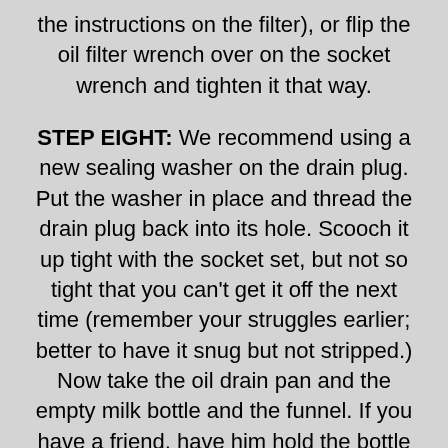the instructions on the filter), or flip the oil filter wrench over on the socket wrench and tighten it that way.
STEP EIGHT: We recommend using a new sealing washer on the drain plug. Put the washer in place and thread the drain plug back into its hole. Scooch it up tight with the socket set, but not so tight that you can't get it off the next time (remember your struggles earlier; better to have it snug but not stripped.) Now take the oil drain pan and the empty milk bottle and the funnel. If you have a friend, have him hold the bottle while you pour the oil into it. When most of the oil has found the bottom of the bottle, seal it with the lid, then wipe out the inside of the funnel with a clean rag. (We sometimes prop the drain pan against a wall